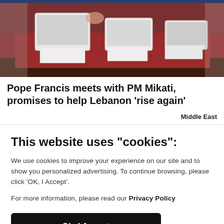[Figure (photo): Photo of a table with red tablecloth, white laptops and documents, taken at an official meeting setting]
Pope Francis meets with PM Mikati, promises to help Lebanon 'rise again'
Middle East
This website uses "cookies":
We use cookies to improve your experience on our site and to show you personalized advertising. To continue browsing, please click 'OK, I Accept'.
For more information, please read our Privacy Policy
Ok, I Accept